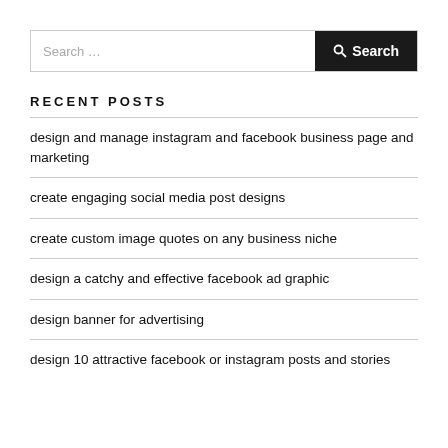Search …
RECENT POSTS
design and manage instagram and facebook business page and marketing
create engaging social media post designs
create custom image quotes on any business niche
design a catchy and effective facebook ad graphic
design banner for advertising
design 10 attractive facebook or instagram posts and stories